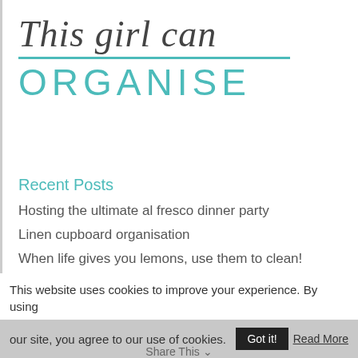This girl can ORGANISE
Recent Posts
Hosting the ultimate al fresco dinner party
Linen cupboard organisation
When life gives you lemons, use them to clean!
Organise your family's board games and puzzles
Recycling your old shoes and socks
This website uses cookies to improve your experience. By using our site, you agree to our use of cookies.
Share This
Got it!
Read More